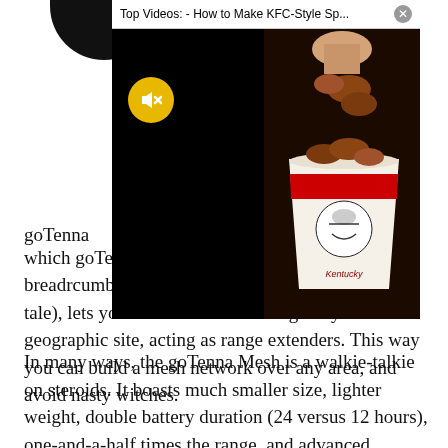[Figure (screenshot): Video popup overlay titled 'Top Videos: - How to Make KFC-Style Sp...' showing a KFC bucket of fried chicken. Black background with a yellow mute button on the left side.]
goTenna [partially obscured] rid) which goTe [partially obscured] trail of breadrcumbs left by Hansel and Gretel in the fairy tale), lets you scatter devices strategically around a geographic site, acting as range extenders. This way you can build a mesh network over any area, and avoid nasty witches.
In many ways, the goTenna Mesh is a walkie-talkie on steroids. It boasts much smaller size, lighter weight, double battery duration (24 versus 12 hours), one-and-a-half times the range, and advanced features including meshing and channel management. The Mesh's UHF transmissions connect point-to-point up to four miles in open areas, so by stringing them together you could